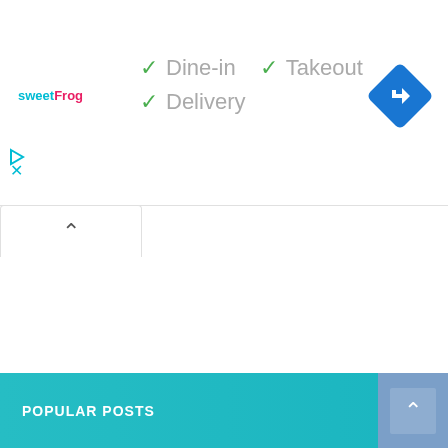[Figure (logo): sweetFrog logo with teal and pink text]
✓ Dine-in
✓ Takeout
✓ Delivery
[Figure (other): Blue diamond-shaped navigation/directions icon with white right-turn arrow]
[Figure (other): Tab with up caret arrow (collapse/expand UI element)]
POPULAR POSTS